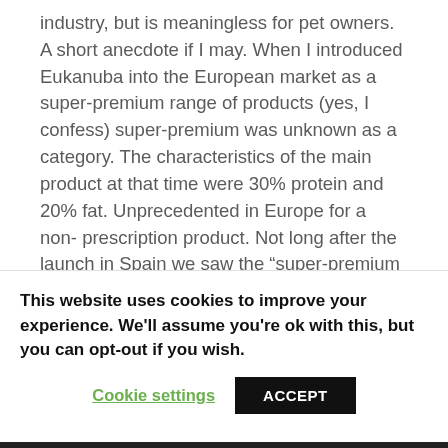industry, but is meaningless for pet owners. A short anecdote if I may. When I introduced Eukanuba into the European market as a super-premium range of products (yes, I confess) super-premium was unknown as a category. The characteristics of the main product at that time were 30% protein and 20% fat. Unprecedented in Europe for a non- prescription product. Not long after the launch in Spain we saw the “super-premium category” mushroom. Many Spanish pet food manufacturers launched super-premium products. Their definition of super-premium: 30/20!
This website uses cookies to improve your experience. We'll assume you're ok with this, but you can opt-out if you wish.
Cookie settings
ACCEPT